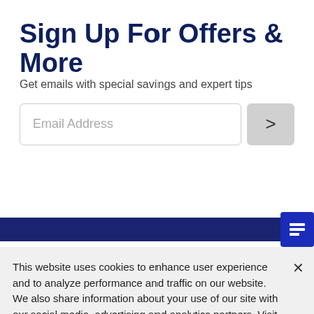Sign Up For Offers & More
Get emails with special savings and expert tips
[Figure (screenshot): Email address input field with submit arrow button]
[Figure (screenshot): Dark navy blue navigation/footer bar with chat icon button]
This website uses cookies to enhance user experience and to analyze performance and traffic on our website. We also share information about your use of our site with our social media, advertising and analytics partners. Visit our Privacy Policy to learn more or manage your personal preferences under Cookie Settings.
Cookie Settings
Accept Cookies